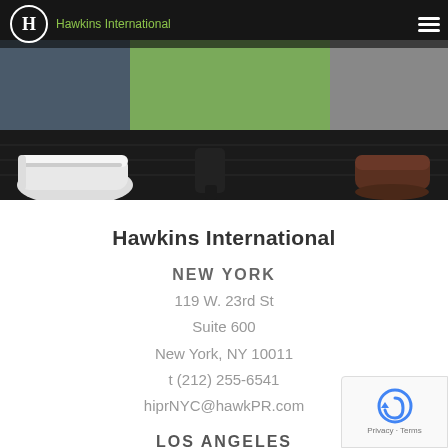[Figure (photo): Header photo showing feet/shoes of several people standing on a dark wood floor, with a green wall panel behind them. Overlaid navigation bar with Hawkins International logo (H in circle) and hamburger menu icon.]
Hawkins International
NEW YORK
119 W. 23rd St
Suite 600
New York, NY 10011
t (212) 255-6541
hiprNYC@hawkPR.com
LOS ANGELES
750 N San Vicente Blvd.
Suite 800
West Hollywood, CA 90069